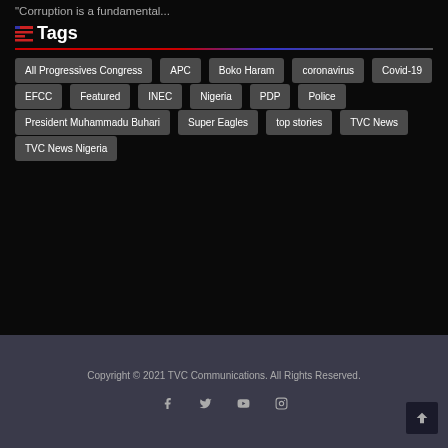"Corruption is a fundamental...
Tags
All Progressives Congress
APC
Boko Haram
coronavirus
Covid-19
EFCC
Featured
INEC
Nigeria
PDP
Police
President Muhammadu Buhari
Super Eagles
top stories
TVC News
TVC News Nigeria
Copyright © 2021 TVC Communications. All Rights Reserved.